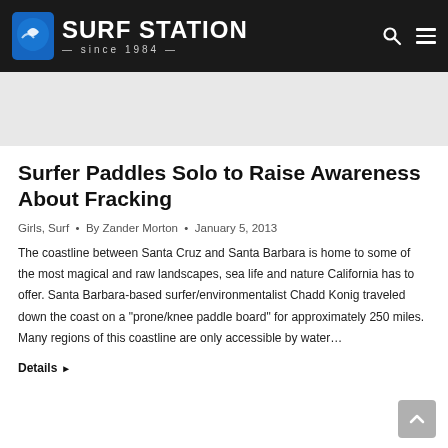Surf Station since 1984
[Figure (photo): Gray image placeholder / banner area below header]
Surfer Paddles Solo to Raise Awareness About Fracking
Girls, Surf • By Zander Morton • January 5, 2013
The coastline between Santa Cruz and Santa Barbara is home to some of the most magical and raw landscapes, sea life and nature California has to offer. Santa Barbara-based surfer/environmentalist Chadd Konig traveled down the coast on a "prone/knee paddle board" for approximately 250 miles. Many regions of this coastline are only accessible by water…
Details ▶